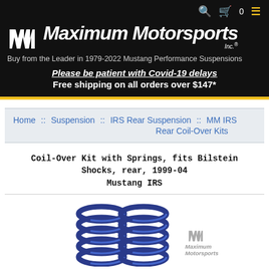Maximum Motorsports Inc. | Buy from the Leader in 1979-2022 Mustang Performance Suspensions
Please be patient with Covid-19 delays
Free shipping on all orders over $147*
Home :: Suspension :: IRS Rear Suspension :: MM IRS Rear Coil-Over Kits
Coil-Over Kit with Springs, fits Bilstein Shocks, rear, 1999-04 Mustang IRS
[Figure (photo): Two blue coil springs and Maximum Motorsports logo on white background]